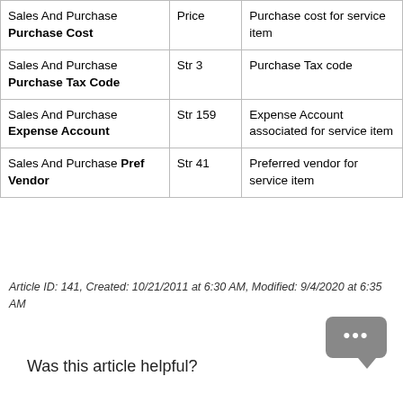| Field | Type | Description |
| --- | --- | --- |
| Sales And Purchase Purchase Cost | Price | Purchase cost for service item |
| Sales And Purchase Purchase Tax Code | Str 3 | Purchase Tax code |
| Sales And Purchase Expense Account | Str 159 | Expense Account associated for service item |
| Sales And Purchase Pref Vendor | Str 41 | Preferred vendor for service item |
Article ID: 141, Created: 10/21/2011 at 6:30 AM, Modified: 9/4/2020 at 6:35 AM
Was this article helpful?